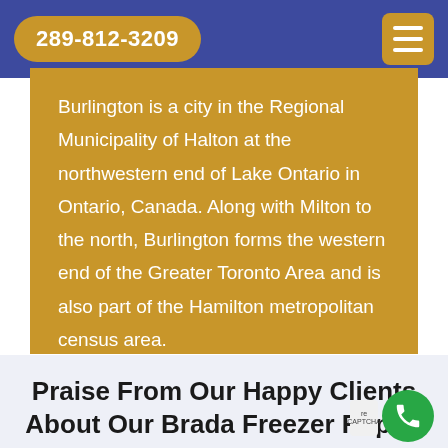289-812-3209
Burlington is a city in the Regional Municipality of Halton at the northwestern end of Lake Ontario in Ontario, Canada. Along with Milton to the north, Burlington forms the western end of the Greater Toronto Area and is also part of the Hamilton metropolitan census area.
Praise From Our Happy Clients About Our Brada Freezer Repair i…